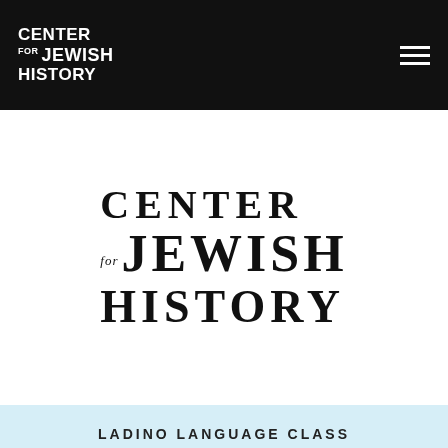CENTER FOR JEWISH HISTORY
[Figure (logo): Center for Jewish History logo — large serif text reading CENTER / for JEWISH / HISTORY]
LADINO LANGUAGE CLASS
MON, FEB 04   06:30pm
"GOING SOUTH-JEWISH WOMEN IN THE CIVIL RIGHTS MOVEMENT"